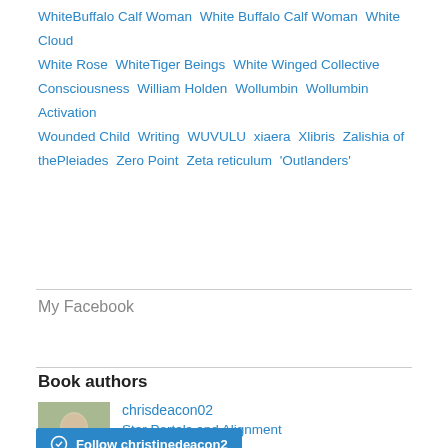WhiteBuffalo Calf Woman  White Buffalo Calf Woman  White Cloud  White Rose  WhiteTiger Beings  White Winged Collective Consciousness  William Holden  Wollumbin  Wollumbin Activation  Wounded Child  Writing  WUVULU  xiaera  Xlibris  Zalishia of thePleiades  Zero Point  Zeta reticulum  'Outlanders'
My Facebook
Book authors
chrisdeacon02
Star Portals and Alignment
Star Portals and Alignments
Follow christinedeacon2